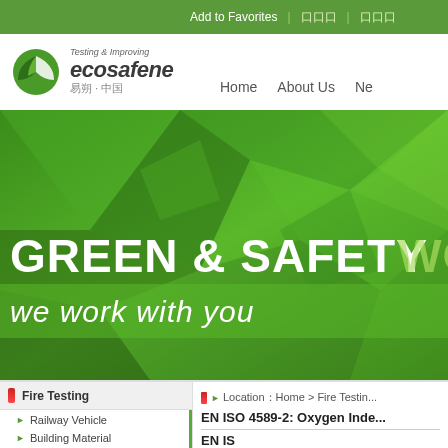Add to Favorites | [CJK] | [CJK]
[Figure (logo): Ecosafene logo with green leaf icon, tagline 'Testing & Improving ecosafene', Chinese characters '易朔·中国']
Home   About Us   Ne...
[Figure (photo): Green geometric polygon background hero banner with large white bold text 'GREEN & SAFETY WOR' and semi-transparent green band with text 'we work with you']
Fire Testing
Location：Home > Fire Testin...
Railway Vehicle
Building Material
Aircraft Material
Marine Equipment
EN ISO 4589-2: Oxygen Inde...
EN IS